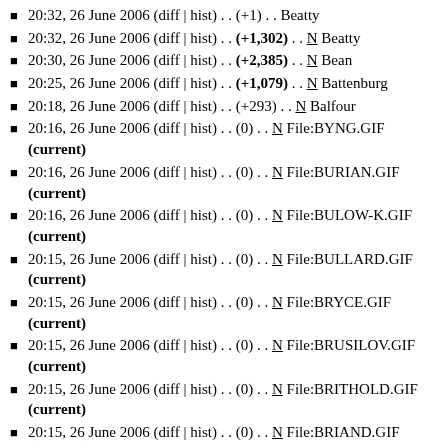20:32, 26 June 2006 (diff | hist) . . (+1) . . Beatty
20:32, 26 June 2006 (diff | hist) . . (+1,302) . . N Beatty
20:30, 26 June 2006 (diff | hist) . . (+2,385) . . N Bean
20:25, 26 June 2006 (diff | hist) . . (+1,079) . . N Battenburg
20:18, 26 June 2006 (diff | hist) . . (+293) . . N Balfour
20:16, 26 June 2006 (diff | hist) . . (0) . . N File:BYNG.GIF (current)
20:16, 26 June 2006 (diff | hist) . . (0) . . N File:BURIAN.GIF (current)
20:16, 26 June 2006 (diff | hist) . . (0) . . N File:BULOW-K.GIF (current)
20:15, 26 June 2006 (diff | hist) . . (0) . . N File:BULLARD.GIF (current)
20:15, 26 June 2006 (diff | hist) . . (0) . . N File:BRYCE.GIF (current)
20:15, 26 June 2006 (diff | hist) . . (0) . . N File:BRUSILOV.GIF (current)
20:15, 26 June 2006 (diff | hist) . . (0) . . N File:BRITHOLD.GIF (current)
20:15, 26 June 2006 (diff | hist) . . (0) . . N File:BRIAND.GIF (current)
20:14, 26 June 2006 (diff | hist) . . (0) . . N File:BRCHTOLD.GIF (current)
20:14, 26 June 2006 (diff | hist) . . (0) . . N File:BOY-ED.GIF (current)
20:14, 26 June 2006 (diff | hist) . . (0) . . N ...